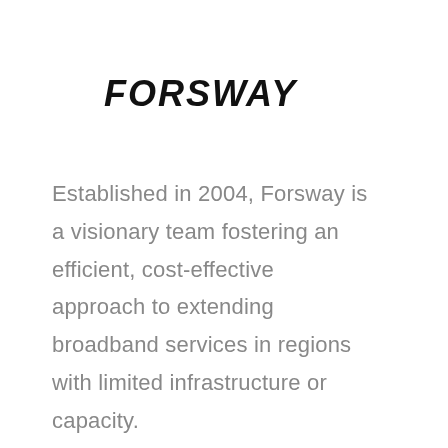FORSWAY
Established in 2004, Forsway is a visionary team fostering an efficient, cost-effective approach to extending broadband services in regions with limited infrastructure or capacity.